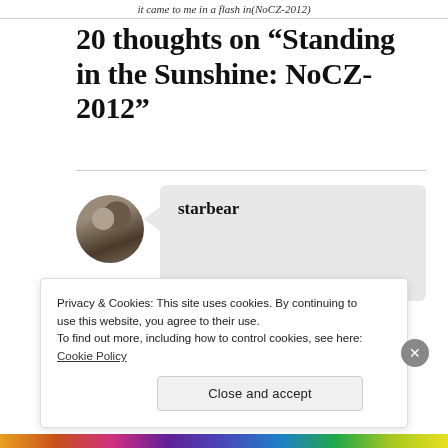it came to me in a flash in(NoCZ-2012)
20 thoughts on “Standing in the Sunshine: NoCZ-2012”
starbear
Privacy & Cookies: This site uses cookies. By continuing to use this website, you agree to their use.
To find out more, including how to control cookies, see here:
Cookie Policy
Close and accept